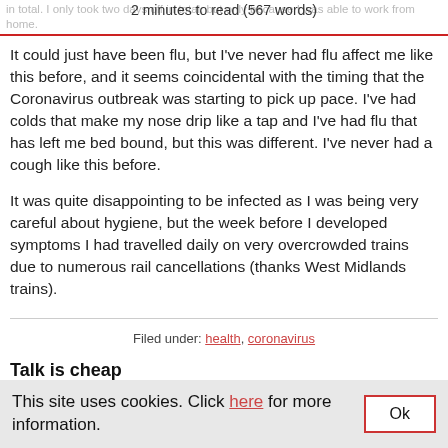2 minutes to read (567 words)
It could just have been flu, but I've never had flu affect me like this before, and it seems coincidental with the timing that the Coronavirus outbreak was starting to pick up pace. I've had colds that make my nose drip like a tap and I've had flu that has left me bed bound, but this was different. I've never had a cough like this before.
It was quite disappointing to be infected as I was being very careful about hygiene, but the week before I developed symptoms I had travelled daily on very overcrowded trains due to numerous rail cancellations (thanks West Midlands trains).
Filed under: health, coronavirus
Talk is cheap
This site uses cookies. Click here for more information.